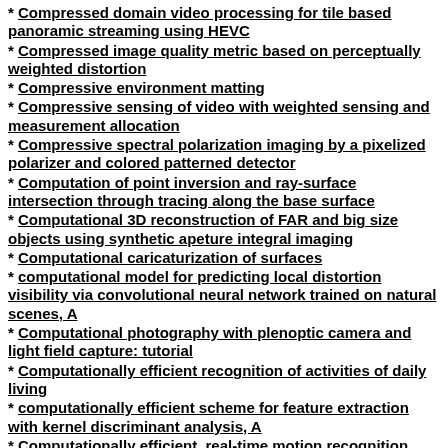Compressed domain video processing for tile based panoramic streaming using HEVC
Compressed image quality metric based on perceptually weighted distortion
Compressive environment matting
Compressive sensing of video with weighted sensing and measurement allocation
Compressive spectral polarization imaging by a pixelized polarizer and colored patterned detector
Computation of point inversion and ray-surface intersection through tracing along the base surface
Computational 3D reconstruction of FAR and big size objects using synthetic apeture integral imaging
Computational caricaturization of surfaces
computational model for predicting local distortion visibility via convolutional neural network trained on natural scenes, A
Computational photography with plenoptic camera and light field capture: tutorial
Computationally efficient recognition of activities of daily living
computationally efficient scheme for feature extraction with kernel discriminant analysis, A
Computationally efficient, real-time motion recognition based on bio-inspired visual and cognitive processing
Computer aided brain tumor detection system using